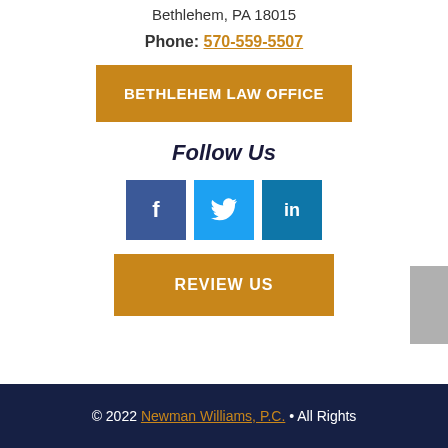Bethlehem, PA 18015
Phone: 570-559-5507
BETHLEHEM LAW OFFICE
Follow Us
[Figure (infographic): Social media icons: Facebook, Twitter, LinkedIn]
REVIEW US
© 2022 Newman Williams, P.C. • All Rights